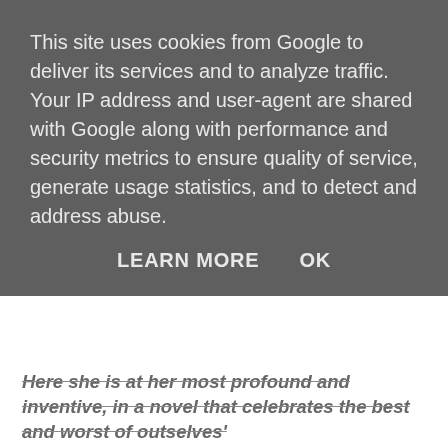This site uses cookies from Google to deliver its services and to analyze traffic. Your IP address and user-agent are shared with Google along with performance and security metrics to ensure quality of service, generate usage statistics, and to detect and address abuse.
LEARN MORE   OK
Here she is at her most profound and inventive, in a novel that celebrates the best and worst of outselves'
Without giving too much away, this book is very ambiguous. We follow the life of Ursula, who keeps dying over and over, but getting the chance to relive her life each time. When the group discussed the book, we couldn't all decide what the author was trying to say Ursula was doing. Whether she was time travelling, or simply having foresight, being reincarnated, or whether the author was simply exploring how one small action can set off a chain of events. For me this presented a problem with the book, because I was so confused with what the author was trying to say, that I often had to re-read